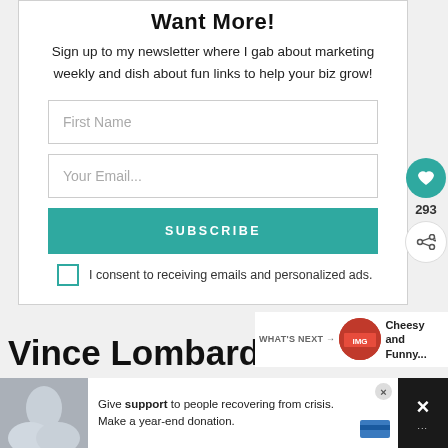Want More!
Sign up to my newsletter where I gab about marketing weekly and dish about fun links to help your biz grow!
First Name
Your Email...
SUBSCRIBE
I consent to receiving emails and personalized ads.
293
WHAT'S NEXT → Cheesy and Funny...
Vince Lombardi Success Quotes
Give support to people recovering from crisis. Make a year-end donation.